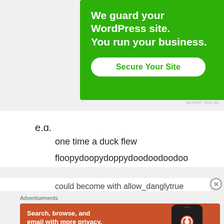[Figure (screenshot): Green advertisement banner reading 'We guard your WordPress site. You run your business.' with a 'Secure Your Site' button]
REPORT THIS AD
e.g.
one time a duck flew
floopydoopydoppydoodoodoodoo
could become with allow_danglytrue
Advertisements
[Figure (screenshot): Orange DuckDuckGo advertisement: 'Search, browse, and email with more privacy. All in One Free App' with phone mockup showing DuckDuckGo logo]